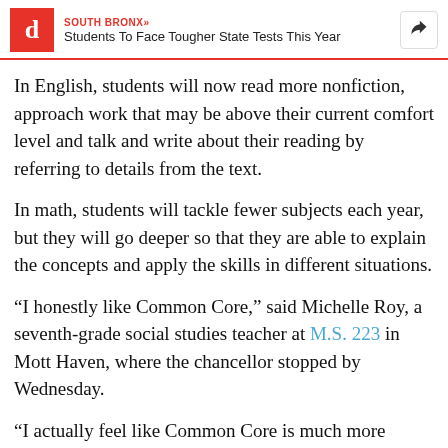SOUTH BRONX» Students To Face Tougher State Tests This Year
In English, students will now read more nonfiction, approach work that may be above their current comfort level and talk and write about their reading by referring to details from the text.
In math, students will tackle fewer subjects each year, but they will go deeper so that they are able to explain the concepts and apply the skills in different situations.
“I honestly like Common Core,” said Michelle Roy, a seventh-grade social studies teacher at M.S. 223 in Mott Haven, where the chancellor stopped by Wednesday.
“I actually feel like Common Core is much more aligned to what children need to do in college and life,” Roy said.